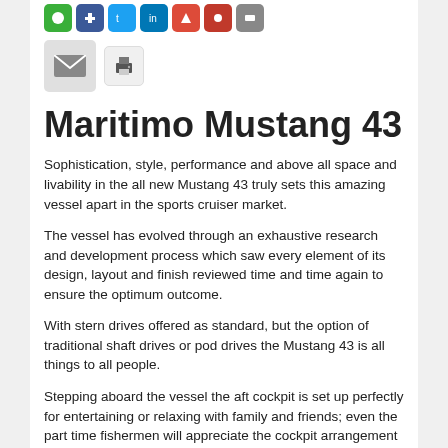[Figure (other): Row of social sharing icon buttons (green, dark blue, light blue, indigo, red, dark red, gray) followed by a second row with a large email icon button and a print icon button]
Maritimo Mustang 43
Sophistication, style, performance and above all space and livability in the all new Mustang 43 truly sets this amazing vessel apart in the sports cruiser market.
The vessel has evolved through an exhaustive research and development process which saw every element of its design, layout and finish reviewed time and time again to ensure the optimum outcome.
With stern drives offered as standard, but the option of traditional shaft drives or pod drives the Mustang 43 is all things to all people.
Stepping aboard the vessel the aft cockpit is set up perfectly for entertaining or relaxing with family and friends; even the part time fishermen will appreciate the cockpit arrangement with the aft facing…